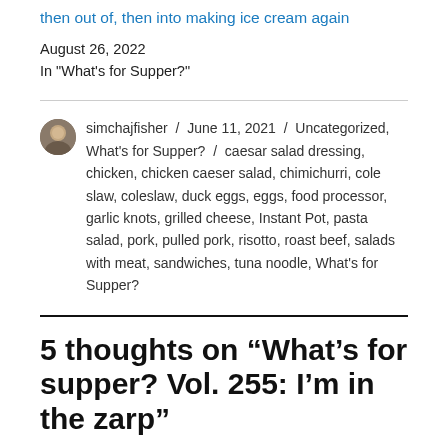then out of, then into making ice cream again
August 26, 2022
In "What's for Supper?"
simchajfisher / June 11, 2021 / Uncategorized, What's for Supper? / caesar salad dressing, chicken, chicken caeser salad, chimichurri, cole slaw, coleslaw, duck eggs, eggs, food processor, garlic knots, grilled cheese, Instant Pot, pasta salad, pork, pulled pork, risotto, roast beef, salads with meat, sandwiches, tuna noodle, What's for Supper?
5 thoughts on “What’s for supper? Vol. 255: I’m in the zarp”